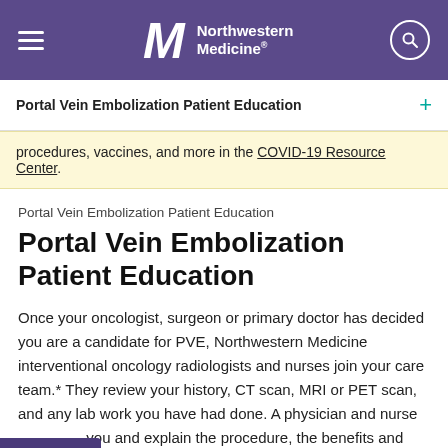[Figure (logo): Northwestern Medicine logo with hamburger menu and search icon on purple background]
Portal Vein Embolization Patient Education
procedures, vaccines, and more in the COVID-19 Resource Center.
Portal Vein Embolization Patient Education
Portal Vein Embolization Patient Education
Once your oncologist, surgeon or primary doctor has decided you are a candidate for PVE, Northwestern Medicine interventional oncology radiologists and nurses join your care team.* They review your history, CT scan, MRI or PET scan, and any lab work you have had done. A physician and nurse you and explain the procedure, the benefits and risks and answer any questions you have. They will assist you